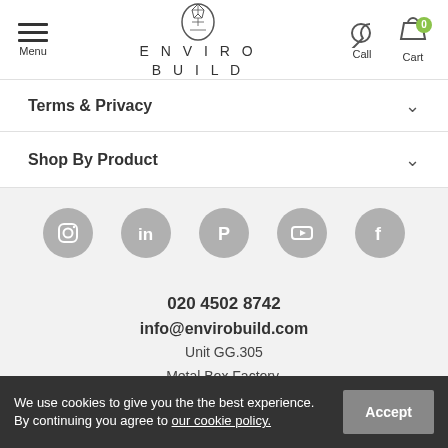Menu | ENVIRO BUILD | Call | Cart (0)
Terms & Privacy
Shop By Product
[Figure (infographic): Social media icons: Instagram, LinkedIn, Pinterest, YouTube, Facebook]
020 4502 8742
info@envirobuild.com
Unit GG.305
Metal Box Factory,
30 Great Guildford Street,
London, SE1 0HS
We use cookies to give you the the best experience. By continuing you agree to our cookie policy.
Accept